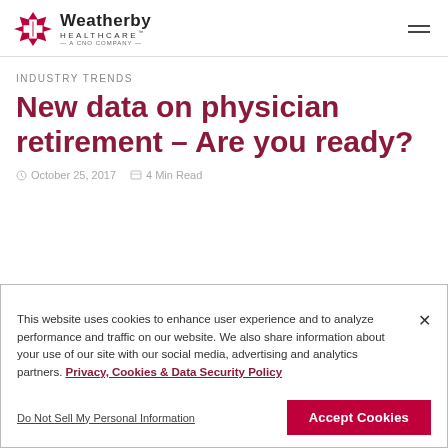Weatherby Healthcare – A CNO Company
INDUSTRY TRENDS
New data on physician retirement – Are you ready?
October 25, 2017   4 Min Read
This website uses cookies to enhance user experience and to analyze performance and traffic on our website. We also share information about your use of our site with our social media, advertising and analytics partners. Privacy, Cookies & Data Security Policy
Do Not Sell My Personal Information
Accept Cookies